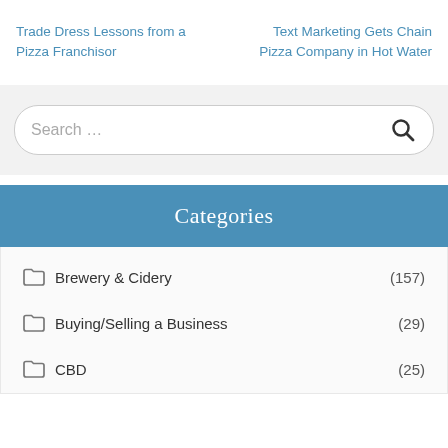Trade Dress Lessons from a Pizza Franchisor
Text Marketing Gets Chain Pizza Company in Hot Water
[Figure (other): Search bar input field with magnifying glass icon]
Categories
Brewery & Cidery (157)
Buying/Selling a Business (29)
CBD (25)